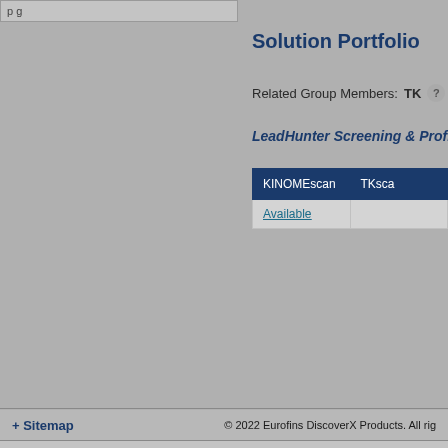Solution Portfolio
Related Group Members: TK
LeadHunter Screening & Profiling
| KINOMEscan | TKsca |
| --- | --- |
| Available |  |
+ Sitemap    © 2022 Eurofins DiscoverX Products. All rig